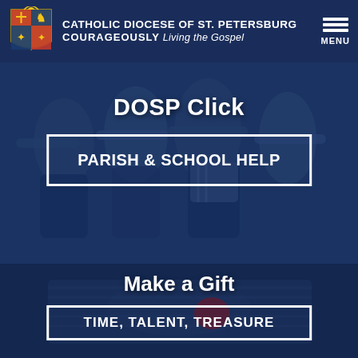CATHOLIC DIOCESE OF ST. PETERSBURG COURAGEOUSLY Living the Gospel
DOSP Click
PARISH & SCHOOL HELP
[Figure (photo): Group of people hugging in a circle outdoors, overlaid with dark navy blue tint]
Make a Gift
TIME, TALENT, TREASURE
[Figure (photo): Close-up of people joining hands, overlaid with dark navy blue tint]